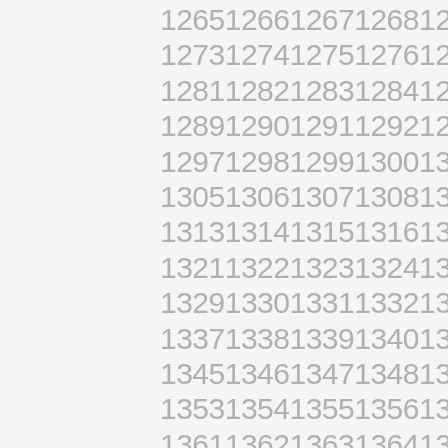1265126612671268126912701271127212731274127512761277127812791280128112821283128412851286128712881289129012911292129312941295129612971298129913001301130213031304130513061307130813091310131113121313131413151316131713181319132013211322132313241325132613271328132913301331133213331334133513361337133813391340134113421343134413451346134713481349135013511352135313541355135613571358135913601361136213631364136513661367136813691370
1265 1266 1267 1268 1269 1270 1271 1272
1273 1274 1275 1276 1277 1278 1279 1280
1281 1282 1283 1284 1285 1286 1287 1288
1289 1290 1291 1292 1293 1294 1295 1296
1297 1298 1299 1300 1301 1302 1303 1304
1305 1306 1307 1308 1309 1310 1311 1312
1313 1314 1315 1316 1317 1318 1319 1320
1321 1322 1323 1324 1325 1326 1327 1328
1329 1330 1331 1332 1333 1334 1335 1336
1337 1338 1339 1340 1341 1342 1343 1344
1345 1346 1347 1348 1349 1350 1351 1352
1353 1354 1355 1356 1357 1358 1359 1360
1361 1362 1363 1364 1365 1366 1367 1368